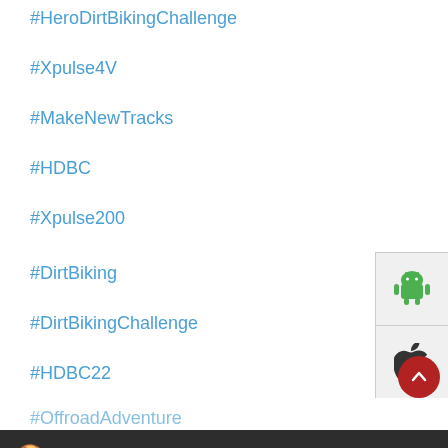#HeroDirtBikingChallenge
#Xpulse4V
#MakeNewTracks
#HDBC
#Xpulse200
#DirtBiking
#DirtBikingChallenge
#HDBC22
#OffroadAdventure
[Figure (screenshot): Side panel with Android (green robot) and Apple (apple logo) icons on a light grey background]
Cookie Information
We use cookies (including third party cookies) in order to improve your experience and our service. Click "I Accept" to accept the cookie usage. You can refer to our Cookie Policy for cookie settings. Please refer to our Privacy Policy, Terms of Use, Disclaimer, Rules & Regulations and Data Collection Contract or more information on personal data usage.
Posted On: 03 Aug 2022 6:29 PM
I ACCEPT